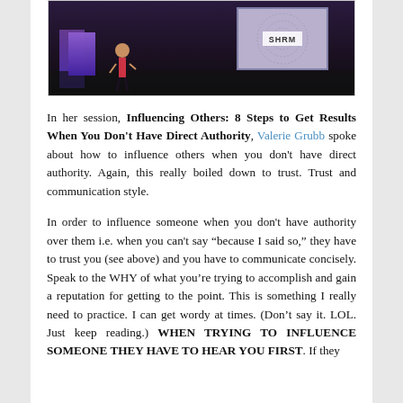[Figure (photo): A speaker on a dark stage at an SHRM conference event. A person in a red dress stands on stage left near a purple illuminated display. A large screen on the right shows the SHRM logo with a dotted circular design.]
In her session, Influencing Others: 8 Steps to Get Results When You Don't Have Direct Authority, Valerie Grubb spoke about how to influence others when you don't have direct authority. Again, this really boiled down to trust. Trust and communication style.
In order to influence someone when you don't have authority over them i.e. when you can't say "because I said so," they have to trust you (see above) and you have to communicate concisely. Speak to the WHY of what you're trying to accomplish and gain a reputation for getting to the point. This is something I really need to practice. I can get wordy at times. (Don't say it. LOL. Just keep reading.) WHEN TRYING TO INFLUENCE SOMEONE THEY HAVE TO HEAR YOU FIRST. If they